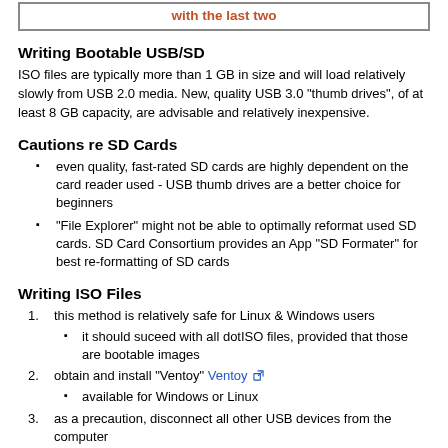with the last two
Writing Bootable USB/SD
ISO files are typically more than 1 GB in size and will load relatively slowly from USB 2.0 media. New, quality USB 3.0 "thumb drives", of at least 8 GB capacity, are advisable and relatively inexpensive.
Cautions re SD Cards
even quality, fast-rated SD cards are highly dependent on the card reader used - USB thumb drives are a better choice for beginners
"File Explorer" might not be able to optimally reformat used SD cards. SD Card Consortium provides an App "SD Formater" for best re-formatting of SD cards
Writing ISO Files
this method is relatively safe for Linux & Windows users
it should suceed with all dotISO files, provided that those are bootable images
obtain and install "Ventoy" Ventoy
available for Windows or Linux
as a precaution, disconnect all other USB devices from the computer
including scanners, mobile broadband sticks, modems etc
launch Ventoy
select the USB/SD media to be written